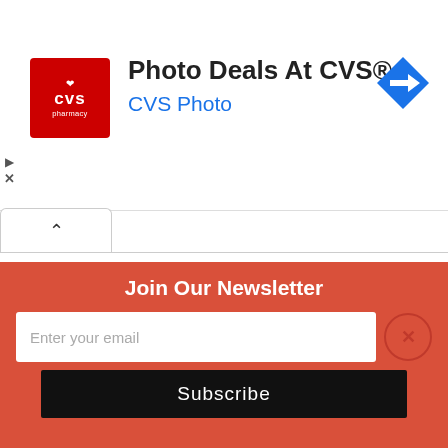[Figure (screenshot): CVS Pharmacy logo with red background, white heart and text 'CVS pharmacy']
Photo Deals At CVS®
CVS Photo
[Figure (other): Blue diamond navigation arrow icon]
⌃
+ META
Register
We use cookies on our website to give you the most relevant experience by remembering your preferences and
Join Our Newsletter
Enter your email
Subscribe